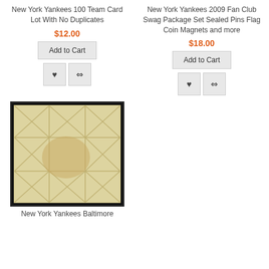New York Yankees 100 Team Card Lot With No Duplicates
$12.00
Add to Cart
New York Yankees 2009 Fan Club Swag Package Set Sealed Pins Flag Coin Magnets and more
$18.00
Add to Cart
[Figure (photo): A baseball base, off-white/cream colored with grid/X pattern stitching, black border frame]
New York Yankees Baltimore